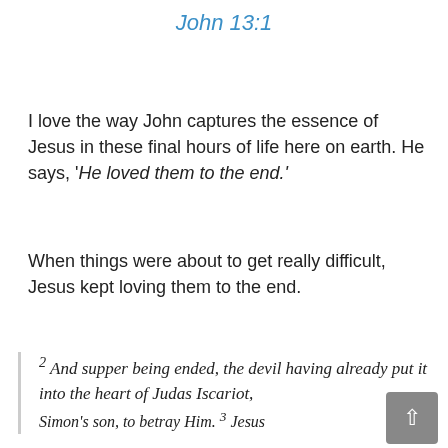John 13:1
I love the way John captures the essence of Jesus in these final hours of life here on earth. He says, ‘He loved them to the end.’
When things were about to get really difficult, Jesus kept loving them to the end.
2 And supper being ended, the devil having already put it into the heart of Judas Iscariot, Simon’s son, to betray Him. 3 Jesus